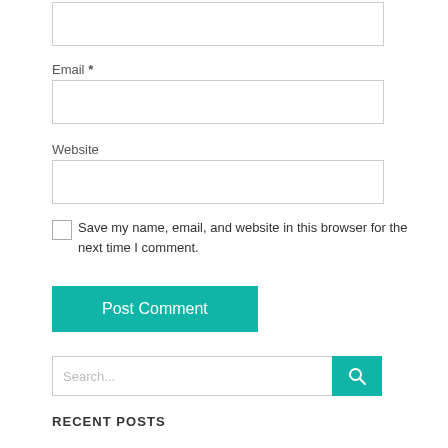[Figure (screenshot): Empty text input box (top, partially visible)]
Email *
[Figure (screenshot): Empty email input box]
Website
[Figure (screenshot): Empty website input box]
Save my name, email, and website in this browser for the next time I comment.
[Figure (screenshot): Post Comment button (teal/green)]
[Figure (screenshot): Search input with teal search button]
RECENT POSTS